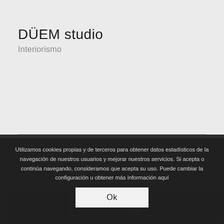DÜEM studio
Interiorismo
Utilizamos cookies propias y de terceros para obtener datos estadísticos de la navegación de nuestros usuarios y mejorar nuestros servicios. Si acepta o continúa navegando, consideramos que acepta su uso. Puede cambiar la configuración u obtener más información aquí
Ok
Proyectos Relacionados
[Figure (photo): Three dark thumbnail images of interior projects shown at the bottom of the page]